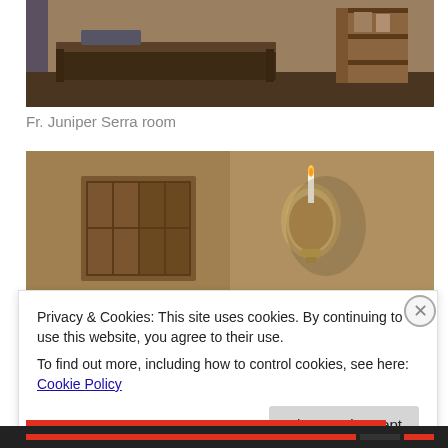[Figure (photo): Interior of Fr. Juniper Serra room showing a simple cot/bench and a wooden shelf or rack against a white/grey stone wall]
Fr. Juniper Serra room
[Figure (photo): Stone wall interior with a small wooden shuttered window on the left and an ornate wall-mounted candle sconce on the right]
Privacy & Cookies: This site uses cookies. By continuing to use this website, you agree to their use.
To find out more, including how to control cookies, see here: Cookie Policy
Close and accept